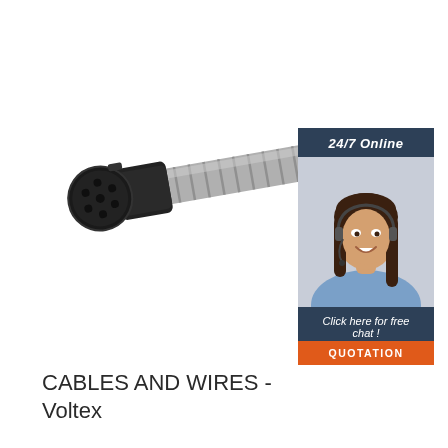[Figure (photo): Industrial electrical cable connector plug — a cylindrical black plastic multi-pin connector head with 7 circular pin holes arranged in a circular pattern, attached to a metallic ribbed/corrugated cylindrical cable/conduit body. The connector appears to be a trailer or heavy-duty electrical plug.]
[Figure (infographic): Customer support banner/advertisement sidebar: dark navy/slate blue background with '24/7 Online' text header, photo of a smiling woman with dark hair wearing a headset (customer service representative), italic text 'Click here for free chat !', and an orange button labeled 'QUOTATION'.]
CABLES AND WIRES - Voltex